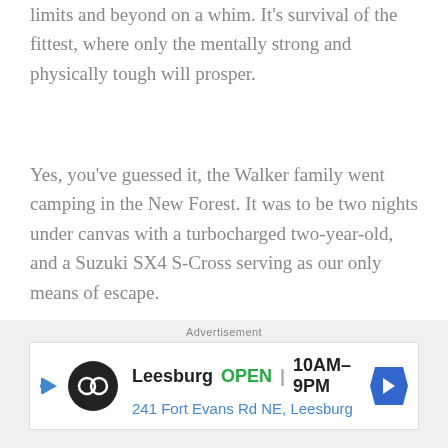limits and beyond on a whim. It's survival of the fittest, where only the mentally strong and physically tough will prosper.
Yes, you've guessed it, the Walker family went camping in the New Forest. It was to be two nights under canvas with a turbocharged two-year-old, and a Suzuki SX4 S-Cross serving as our only means of escape.
As an inexperienced and occasionally incompetent camper, two nights zipped up in a field are a daunting prospect for me. But the S-Cross made it easy, and my
[Figure (other): Advertisement banner for Leesburg store showing logo, OPEN label, hours 10AM-9PM, and address 241 Fort Evans Rd NE, Leesburg]